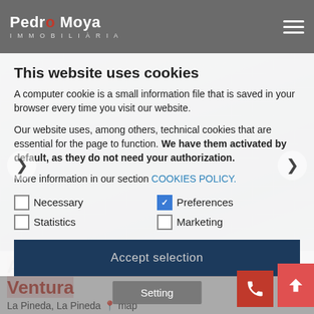Pedro Moya IMMOBILIARIA
This website uses cookies
A computer cookie is a small information file that is saved in your browser every time you visit our website.
Our website uses, among others, technical cookies that are essential for the page to function. We have them activated by default, as they do not need your authorization.
More information in our section COOKIES POLICY.
Necessary   Preferences   Statistics   Marketing
Accept selection
Apartment for sale in street Pep Ventura
La Pineda, La Pineda  map
Setting